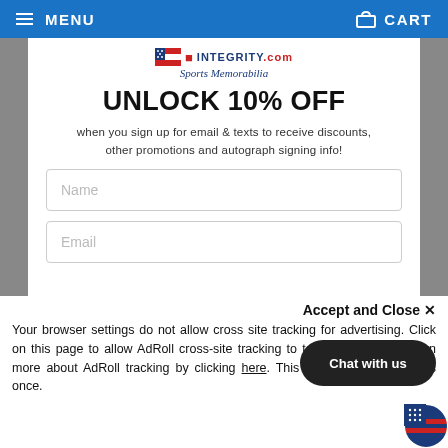MENU   CART
[Figure (logo): Sports Memorabilia website logo with flag icon and cursive tagline 'Sports Memorabilia']
UNLOCK 10% OFF
when you sign up for email & texts to receive discounts, other promotions and autograph signing info!
Name (form field placeholder)
Email (form field placeholder)
Phone Number (form field placeholder, partially visible)
Accept and Close ×
Your browser settings do not allow cross site tracking for advertising. Click on this page to allow AdRoll cross-site tracking to tailor ads to you. Learn more about AdRoll tracking by clicking here. This message only appears once.